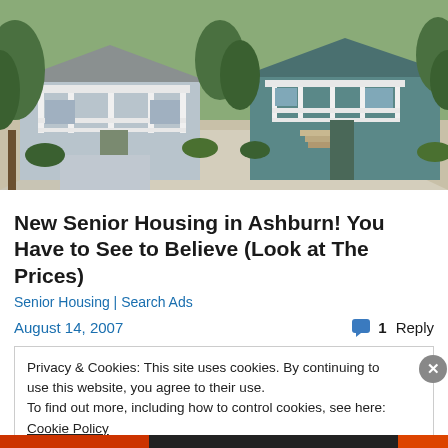[Figure (photo): Photograph of two small single-story houses with white porches and columns, light blue/grey siding, with a shared concrete driveway, surrounded by trees and shrubs.]
New Senior Housing in Ashburn! You Have to See to Believe (Look at The Prices)
Senior Housing | Search Ads
August 14, 2007
1 Reply
Privacy & Cookies: This site uses cookies. By continuing to use this website, you agree to their use.
To find out more, including how to control cookies, see here: Cookie Policy
Close and accept